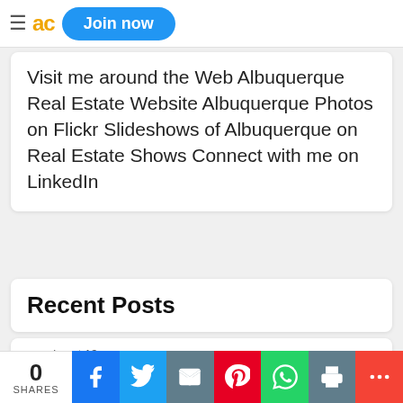≡ ad Join now
Visit me around the Web Albuquerque Real Estate Website Albuquerque Photos on Flickr Slideshows of Albuquerque on Real Estate Shows Connect with me on LinkedIn
Recent Posts
almost 13 years ago
Why do you blog?
0 SHARES